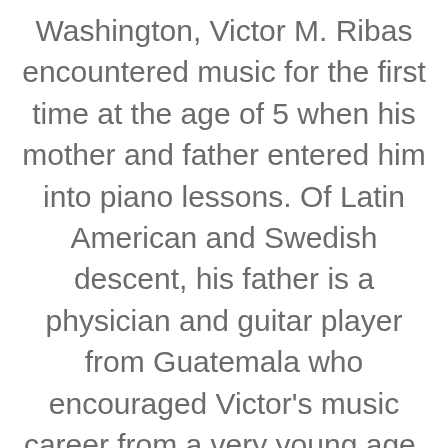Washington, Victor M. Ribas encountered music for the first time at the age of 5 when his mother and father entered him into piano lessons. Of Latin American and Swedish descent, his father is a physician and guitar player from Guatemala who encouraged Victor's music career from a very young age. He gave Victor his first drum set on his 11th birthday and since then Victor has p[Chat with us]recorded around the world.Growing up in the